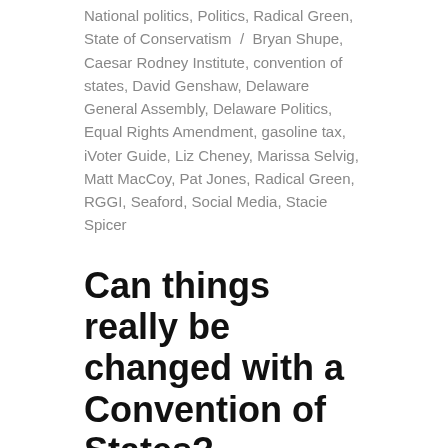National politics, Politics, Radical Green, State of Conservatism / Bryan Shupe, Caesar Rodney Institute, convention of states, David Genshaw, Delaware General Assembly, Delaware Politics, Equal Rights Amendment, gasoline tax, iVoter Guide, Liz Cheney, Marissa Selvig, Matt MacCoy, Pat Jones, Radical Green, RGGI, Seaford, Social Media, Stacie Spicer
Can things really be changed with a Convention of States?
It's a funny thing: when I last broached this subject I noted that the momentum toward a Convention of States had stalled out as no state had passed a call for an Article V Constitutional